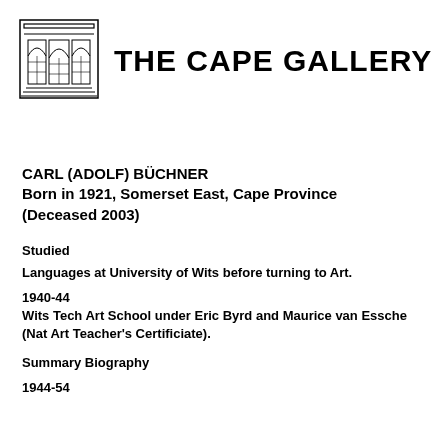[Figure (logo): Line drawing of a building facade with arched windows and columns, representing The Cape Gallery logo]
THE CAPE GALLERY
CARL (ADOLF) BÜCHNER
Born in 1921, Somerset East, Cape Province
(Deceased 2003)
Studied
Languages at University of Wits before turning to Art.
1940-44
Wits Tech Art School under Eric Byrd and Maurice van Essche (Nat Art Teacher's Certificiate).
Summary Biography
1944-54